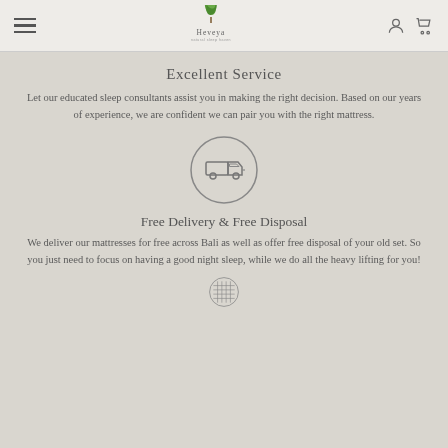Heveya — navigation bar with hamburger menu, logo, user and cart icons
Excellent Service
Let our educated sleep consultants assist you in making the right decision. Based on our years of experience, we are confident we can pair you with the right mattress.
[Figure (illustration): Circle icon with a delivery van/truck inside]
Free Delivery & Free Disposal
We deliver our mattresses for free across Bali as well as offer free disposal of your old set. So you just need to focus on having a good night sleep, while we do all the heavy lifting for you!
[Figure (illustration): Circle icon with a grid/matrix pattern inside (partially visible at bottom)]